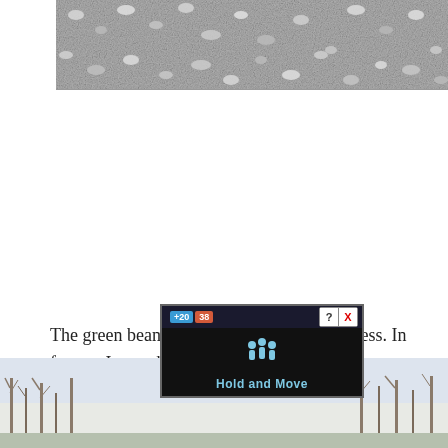[Figure (photo): Close-up photograph of small white/grey gravel or crushed stone]
The green bean trellis was a smashing success. In fact, as I type this in mid-October, it is still green and producing beans which blows my mind. It’s days are numbered though
[Figure (screenshot): Advertisement overlay showing 'Hold and Move' app/game with score display (+20, +38) and close button, overlapping a bottom photo of trees]
[Figure (photo): Outdoor winter scene with bare trees visible at the bottom of the page]